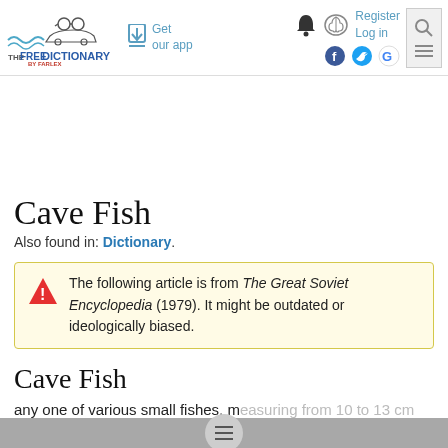The Free Dictionary by Farlex — Get our app — Register Log in
Cave Fish
Also found in: Dictionary.
The following article is from The Great Soviet Encyclopedia (1979). It might be outdated or ideologically biased.
Cave Fish
any one of various small fishes, measuring from 10 to 13 cm long, that